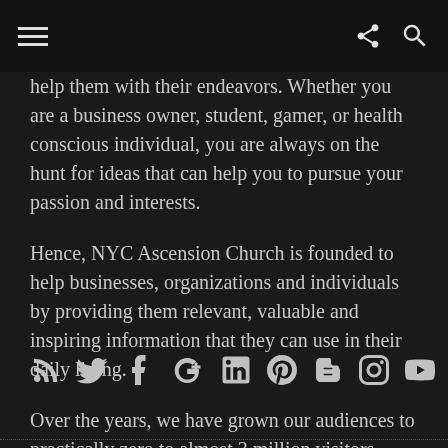[hamburger menu] [share icon] [search icon]
help them with their endeavors. Whether you are a business owner, student, gamer, or health conscious individual, you are always on the hunt for ideas that can help you to pursue your passion and interests.
Hence, NYC Ascension Church is founded to help businesses, organizations and individuals by providing them relevant, valuable and inspiring information that they can use in their daily living.
Over the years, we have grown our audiences to practically zero to almost 3 million visitors every month. This is because we are dedicated to deliver nothing but the best for our readers.
[Figure (other): Row of social media icons: RSS, Twitter, Facebook, Google+, LinkedIn, Pinterest, Blogger, Instagram, YouTube]
dotted horizontal rule